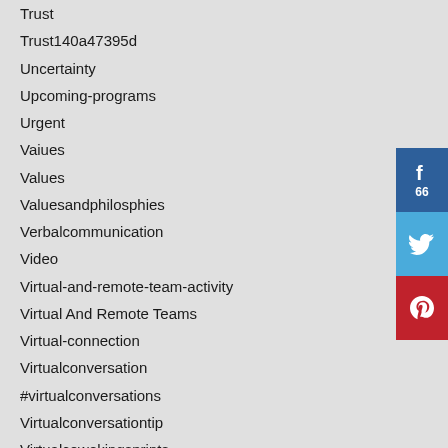Trust
Trust140a47395d
Uncertainty
Upcoming-programs
Urgent
Vaiues
Values
Valuesandphilosphies
Verbalcommunication
Video
Virtual-and-remote-team-activity
Virtual And Remote Teams
Virtual-connection
Virtualconversation
#virtualconversations
Virtualconversationtip
Virtualcowokingsprints
#virtualcoworkingsprints
Virtualevents
Virtualfacilitation